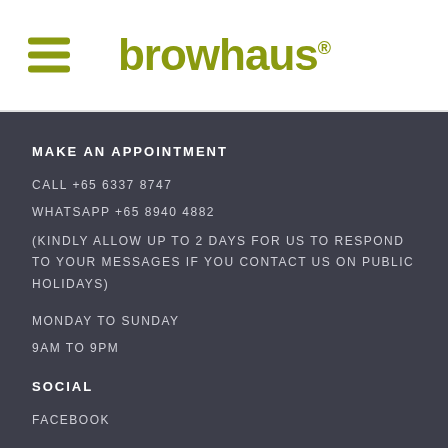[Figure (logo): Browhaus logo with hamburger menu icon on the left and the word 'browhaus' with registered trademark symbol in olive/yellow-green color]
MAKE AN APPOINTMENT
CALL +65 6337 8747
WHATSAPP +65 8940 4882
(KINDLY ALLOW UP TO 2 DAYS FOR US TO RESPOND TO YOUR MESSAGES IF YOU CONTACT US ON PUBLIC HOLIDAYS)
MONDAY TO SUNDAY
9AM TO 9PM
SOCIAL
FACEBOOK